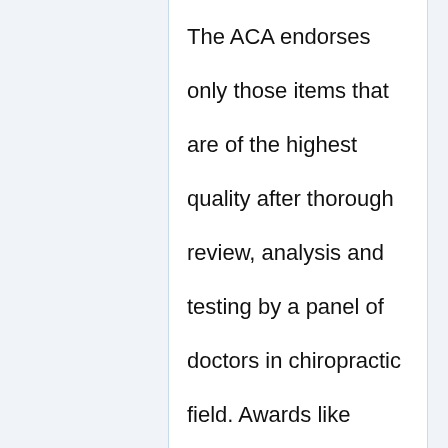The ACA endorses only those items that are of the highest quality after thorough review, analysis and testing by a panel of doctors in chiropractic field. Awards like these demonstrate both companies commitment to